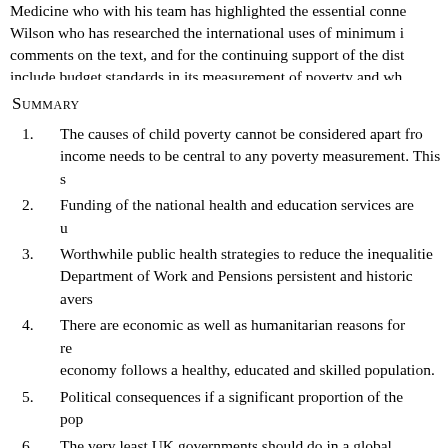Medicine who with his team has highlighted the essential conne... Wilson who has researched the international uses of minimum i... comments on the text, and for the continuing support of the dist... include budget standards in its measurement of poverty and wh...
Summary
1.  The causes of child poverty cannot be considered apart fro... income needs to be central to any poverty measurement. This s...
2.  Funding of the national health and education services are u...
3.  Worthwhile public health strategies to reduce the inequalitie... Department of Work and Pensions persistent and historic avers...
4.  There are economic as well as humanitarian reasons for re... economy follows a healthy, educated and skilled population.
5.  Political consequences if a significant proportion of the pop...
6.  The very least UK governments should do in a global econ... minimum incomes that provide healthy living.
7.  An unregulated free market oppresses the poor. The Gene... to sue national governments if they "hinder free trade".
8.  HSBCs (a global giant) free market contracting out of the c... quote getting the contract so leaving the tax payer to top up low... wage that saves the administrative costs of the credits, housing...
9.  The crucial test of poverty is the income after rent and coun...